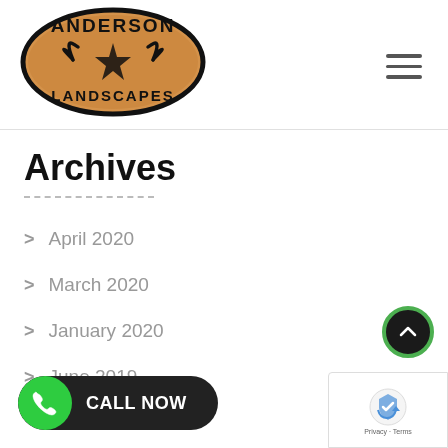[Figure (logo): Anderson Landscapes oval logo with bull horns and star design on orange/brown background]
Archives
April 2020
March 2020
January 2020
June 2019